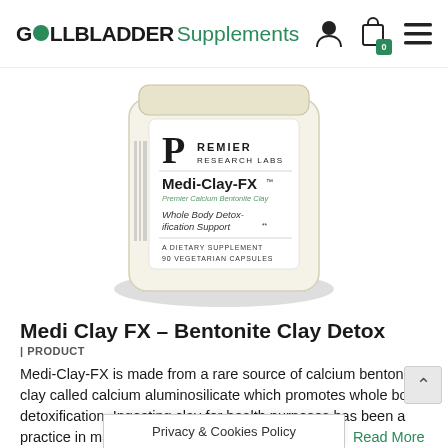GALLBLADDER Supplements
[Figure (photo): A white cylindrical supplement bottle from Premier Research Labs labeled Medi-Clay-FX, Premier Calcium Bentonite Clay, Whole Body Detoxification Support, A Dietary Supplement, 90 Vegetarian Capsules]
Medi Clay FX – Bentonite Clay Detox
| PRODUCT
Medi-Clay-FX is made from a rare source of calcium bentonite clay called calcium aluminosilicate which promotes whole body detoxification. Ingesting clay for health purposes has been a practice in many cultures throughout the centuries. Read More
Privacy & Cookies Policy